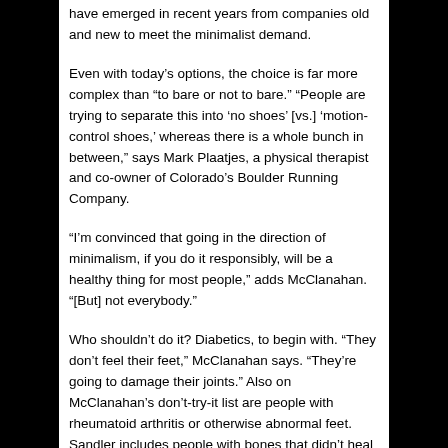have emerged in recent years from companies old and new to meet the minimalist demand.
Even with today's options, the choice is far more complex than “to bare or not to bare.” “People are trying to separate this into ‘no shoes’ [vs.] ‘motion-control shoes,’ whereas there is a whole bunch in between,” says Mark Plaatjes, a physical therapist and co-owner of Colorado’s Boulder Running Company.
“I’m convinced that going in the direction of minimalism, if you do it responsibly, will be a healthy thing for most people,” adds McClanahan. “[But] not everybody.”
Who shouldn’t do it? Diabetics, to begin with. “They don’t feel their feet,” McClanahan says. “They’re going to damage their joints.” Also on McClanahan’s don’t-try-it list are people with rheumatoid arthritis or otherwise abnormal feet. Sandler includes people with bones that didn’t heal properly from a break.
Plaatjes, the 1993 world champion in the marathon